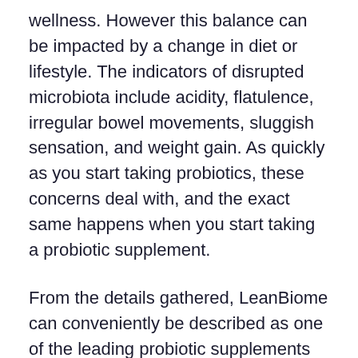wellness. However this balance can be impacted by a change in diet or lifestyle. The indicators of disrupted microbiota include acidity, flatulence, irregular bowel movements, sluggish sensation, and weight gain. As quickly as you start taking probiotics, these concerns deal with, and the exact same happens when you start taking a probiotic supplement.
From the details gathered, LeanBiome can conveniently be described as one of the leading probiotic supplements nowadays, and also there are lots of reasons to trust this product. Based on the main website, it regulates mind as well as body control and controls the emotional and also physical sides of weight problems at the same time. The next paragraph has further details...